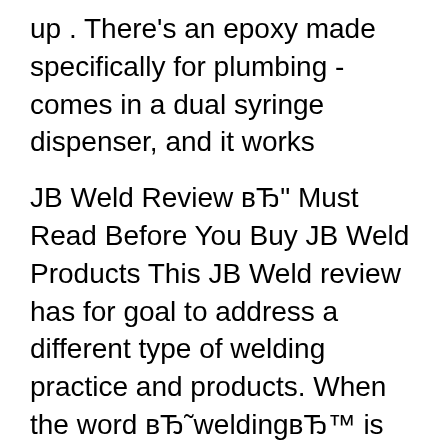up . There's an epoxy made specifically for plumbing - comes in a dual syringe dispenser, and it works
JB Weld Review вЂ" Must Read Before You Buy JB Weld Products This JB Weld review has for goal to address a different type of welding practice and products. When the word вЂ˜weldingвЂ™ is mentioned, it conjures up images of fire and metal joined together. J-B WELD WaterWeld White Epoxy Adhesive at Lowe's. This is a white epoxy putty will plug holes and make permanent repairs in moist surface or under water applications.
Find J-B Weld WaterWeld, 2 oz. in the